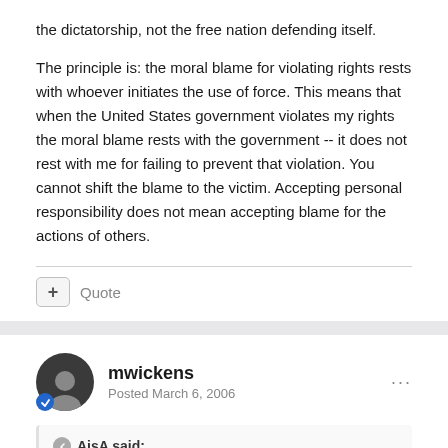the dictatorship, not the free nation defending itself.
The principle is: the moral blame for violating rights rests with whoever initiates the use of force. This means that when the United States government violates my rights the moral blame rests with the government -- it does not rest with me for failing to prevent that violation. You cannot shift the blame to the victim. Accepting personal responsibility does not mean accepting blame for the actions of others.
mwickens
Posted March 6, 2006
AisA said:
according to your interpretation of this principle, the only